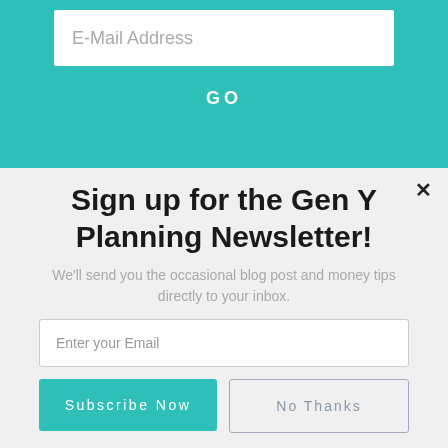E-Mail Address
GO
×
Sign up for the Gen Y Planning Newsletter!
We'll send you the occasional blog post and money tips directly to your inbox.
Enter your Email
Subscribe Now
No Thanks